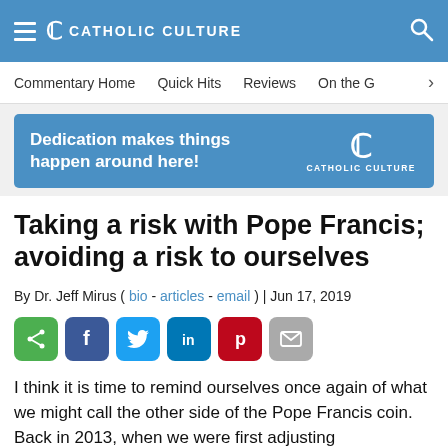CATHOLIC CULTURE
[Figure (screenshot): Navigation menu bar with links: Commentary Home, Quick Hits, Reviews, On the G (truncated)]
[Figure (infographic): Blue advertisement banner reading 'Dedication makes things happen around here!' with Catholic Culture logo]
Taking a risk with Pope Francis; avoiding a risk to ourselves
By Dr. Jeff Mirus ( bio - articles - email ) | Jun 17, 2019
[Figure (infographic): Social sharing buttons: share (green), Facebook (blue), Twitter (light blue), LinkedIn (dark blue), Pinterest (red), email (gray)]
I think it is time to remind ourselves once again of what we might call the other side of the Pope Francis coin. Back in 2013, when we were first adjusting